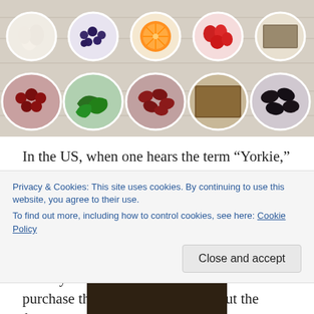[Figure (photo): Two rows of white bowls containing various colorful foods: garlic, blueberries, orange slice, tomatoes, seeds/grains in top row; red berries, green spinach leaves, kidney beans, brown seeds, black olives in bottom row, on a light wood surface.]
In the US, when one hears the term “Yorkie,” one thinks of a cute little yappy dog. In Britain, however, the term refers to the ubiquitous Yorkshire pudding, which is essentially a batter cooked in drippings or other fat, and is as essential to the traditional Sunday roast dinner as the roast. You can purchase them frozen in the UK, but the frozen ones aren’t very good, and those who want to eat good Yorkshire
Privacy & Cookies: This site uses cookies. By continuing to use this website, you agree to their use.
To find out more, including how to control cookies, see here: Cookie Policy
[Figure (photo): Partial photo at bottom of page, dark tones, appears to be outdoor/nature scene.]